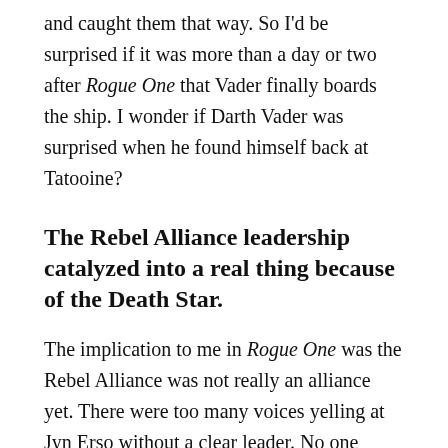and caught them that way. So I'd be surprised if it was more than a day or two after Rogue One that Vader finally boards the ship. I wonder if Darth Vader was surprised when he found himself back at Tatooine?
The Rebel Alliance leadership catalyzed into a real thing because of the Death Star.
The implication to me in Rogue One was the Rebel Alliance was not really an alliance yet. There were too many voices yelling at Jyn Erso without a clear leader. No one seemed to have ultimate authority in a military situation, no clear chain of command. I assumed once Mon Mothma said something, everyone else would pipe down. But at this point, the Alliance seems like a bunch